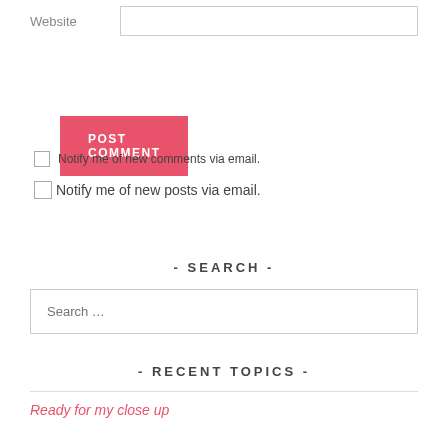Website
POST COMMENT
Notify me of new comments via email.
Notify me of new posts via email.
- SEARCH -
Search …
- RECENT TOPICS -
Ready for my close up